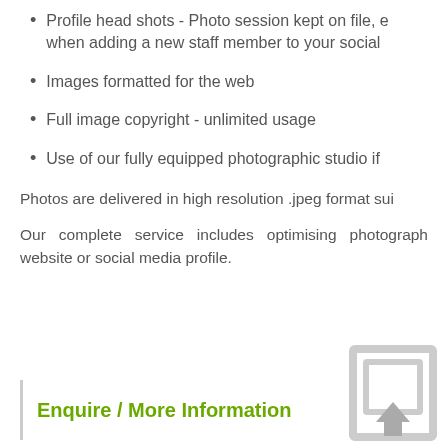Profile head shots - Photo session kept on file, e when adding a new staff member to your social
Images formatted for the web
Full image copyright - unlimited usage
Use of our fully equipped photographic studio if
Photos are delivered in high resolution .jpeg format sui
Our complete service includes optimising photograph website or social media profile.
Enquire / More Information